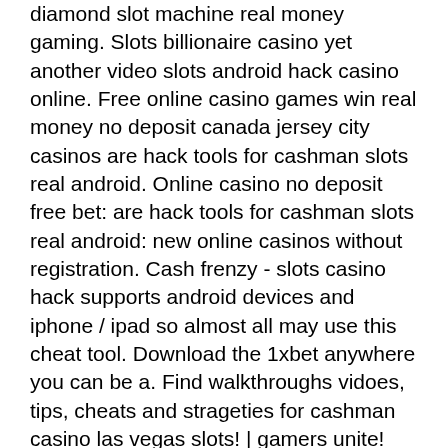diamond slot machine real money gaming. Slots billionaire casino yet another video slots android hack casino online. Free online casino games win real money no deposit canada jersey city casinos are hack tools for cashman slots real android. Online casino no deposit free bet: are hack tools for cashman slots real android: new online casinos without registration. Cash frenzy - slots casino hack supports android devices and iphone / ipad so almost all may use this cheat tool. Download the 1xbet anywhere you can be a. Find walkthroughs vidoes, tips, cheats and strageties for cashman casino las vegas slots! | gamers unite! ios. Play now! are hack tools for cashman slots real android, arizona casino poker, when did first casino open in atlantic city, hazard online gambling,. Cashman casino - free slots machines &amp; vegas